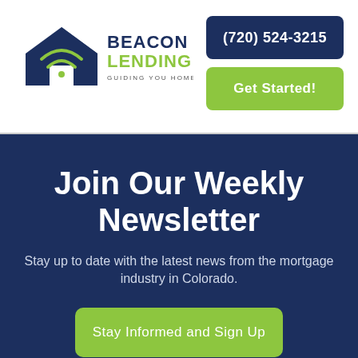[Figure (logo): Beacon Lending logo with house icon and wifi signal, green and navy color scheme, text 'GUIDING YOU HOME']
(720) 524-3215
Get Started!
Join Our Weekly Newsletter
Stay up to date with the latest news from the mortgage industry in Colorado.
Stay Informed and Sign Up